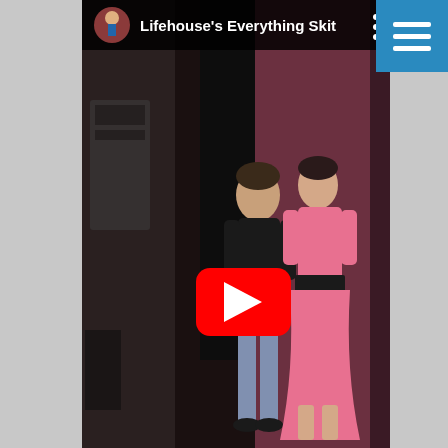[Figure (screenshot): YouTube video thumbnail screenshot showing 'Lifehouse's Everything Skit' — two people on a stage, one in black clothes and one in a pink dress, with a YouTube play button overlay in the center. A blue navigation bar with a hamburger menu icon is visible in the top right corner.]